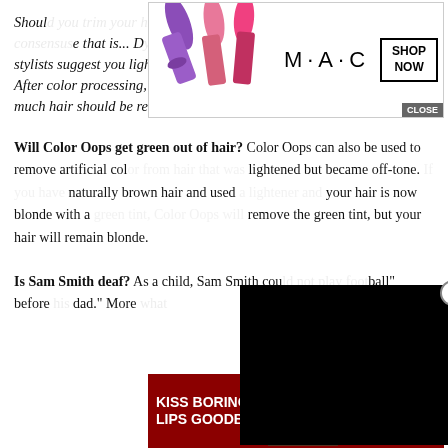Should... [that] is... Dy[ing your] hair. That's why our stylists suggest you lighten first then trim away the unhealthy ends after. After color processing, your stylist at Tribeca Salon can determine how much hair should be removed based on the condition of your ends.
[Figure (other): MAC cosmetics advertisement banner with lipstick products, MAC logo, and SHOP NOW button with CLOSE button]
Will Color Oops get green out of hair? Color Oops can also be used to remove artificial col[or from hair that was] lightened but became off-tone. [If you have] naturally brown hair and used [a lightener and] your hair is now blonde with a [green tint, Color Oops will] remove the green tint, but your hair will remain blonde.
[Figure (other): Black video overlay box covering part of the text]
Is Sam Smith deaf? As a child, Sam Smith cou[ld not play foot]ball" before [his dad...] dad." More [... what]
[Figure (other): Macy's cosmetics advertisement banner with KISS BORING LIPS GOODBYE text, woman with red lips, SHOP NOW button, Macy's logo, and CLOSE button]